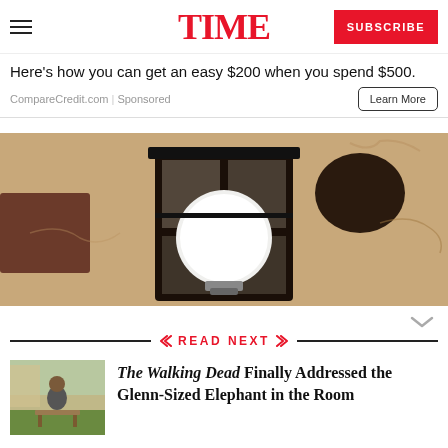TIME
Here's how you can get an easy $200 when you spend $500.
CompareCredit.com | Sponsored
[Figure (photo): Close-up photo of an outdoor wall-mounted lantern light fixture with a large round bulb, mounted on a textured stucco wall.]
READ NEXT
[Figure (photo): Small thumbnail photo of a person sitting outdoors on a bench or table, in a residential setting.]
The Walking Dead Finally Addressed the Glenn-Sized Elephant in the Room